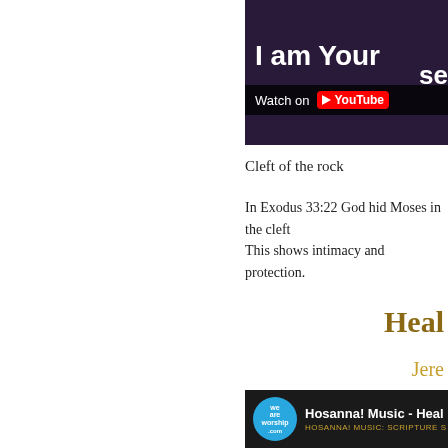[Figure (screenshot): YouTube video thumbnail showing a music performance with text 'I am Your' and 'se' visible, with a 'Watch on YouTube' overlay bar]
Cleft of the rock
In Exodus 33:22 God hid Moses in the cleft This shows intimacy and protection.
Heal
Jere
[Figure (screenshot): YouTube video thumbnail for 'Hosanna! Music - Heal' featuring the We Are Worship logo and Hosanna! Music Scripture banner]